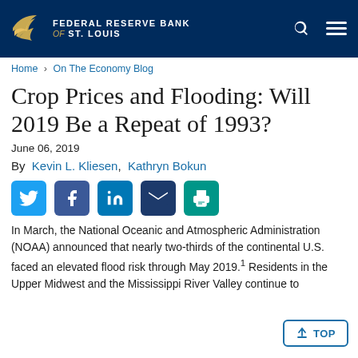FEDERAL RESERVE BANK of ST. LOUIS
Home > On The Economy Blog
Crop Prices and Flooding: Will 2019 Be a Repeat of 1993?
June 06, 2019
By Kevin L. Kliesen, Kathryn Bokun
[Figure (other): Social media sharing buttons: Twitter, Facebook, LinkedIn, Email, Print]
In March, the National Oceanic and Atmospheric Administration (NOAA) announced that nearly two-thirds of the continental U.S. faced an elevated flood risk through May 2019.1 Residents in the Upper Midwest and the Mississippi River Valley continue to